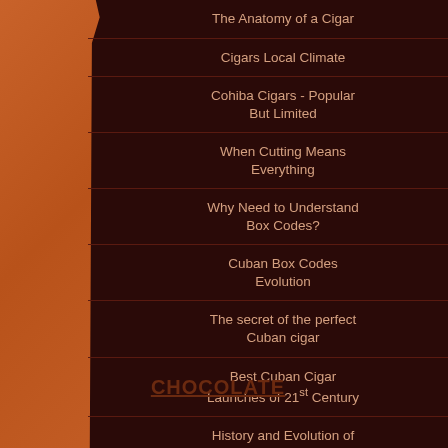The Anatomy of a Cigar
Cigars Local Climate
Cohiba Cigars - Popular But Limited
When Cutting Means Everything
Why Need to Understand Box Codes?
Cuban Box Codes Evolution
The secret of the perfect Cuban cigar
Best Cuban Cigar Launches of 21st Century
History and Evolution of Habanos SA
CHOCOLATE